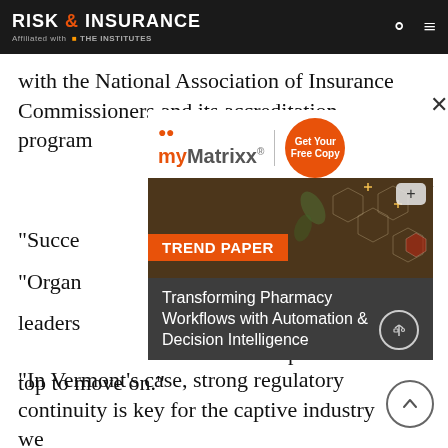RISK & INSURANCE — Affiliated with THE INSTITUTES
with the National Association of Insurance Commissioners and its accreditation program budget process
[Figure (advertisement): myMatrixx advertisement with Get Your Free Copy orange button and close X, overlaid on article text]
[Figure (infographic): Trend Paper card: Transforming Pharmacy Workflows with Automation & Decision Intelligence, dark background with hexagonal tech imagery]
“Succe… going though… “Organ… leaders… y have a plan … s for the person at the top to move on.”
“In Vermont’s case, strong regulatory continuity is key for the captive industry we